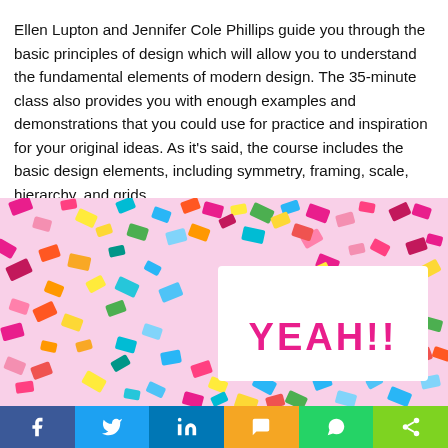Ellen Lupton and Jennifer Cole Phillips guide you through the basic principles of design which will allow you to understand the fundamental elements of modern design. The 35-minute class also provides you with enough examples and demonstrations that you could use for practice and inspiration for your original ideas. As it's said, the course includes the basic design elements, including symmetry, framing, scale, hierarchy, and grids.
[Figure (photo): Colorful confetti scattered on a surface with a white card in the center that reads 'YEAH!!' in pink bold lettering]